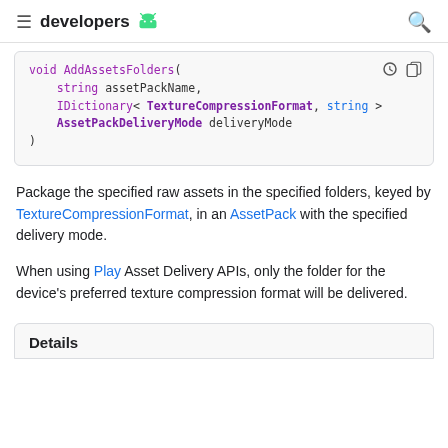developers
[Figure (screenshot): Code block showing void AddAssetsFolders function signature with parameters: string assetPackName, IDictionary< TextureCompressionFormat, string >, AssetPackDeliveryMode deliveryMode]
Package the specified raw assets in the specified folders, keyed by TextureCompressionFormat, in an AssetPack with the specified delivery mode.
When using Play Asset Delivery APIs, only the folder for the device's preferred texture compression format will be delivered.
Details